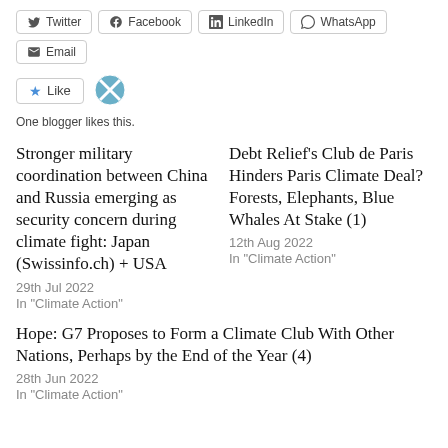[Figure (other): Social share buttons: Twitter, Facebook, LinkedIn, WhatsApp, Email]
[Figure (other): Like button with star icon and avatar; text: One blogger likes this.]
Stronger military coordination between China and Russia emerging as security concern during climate fight: Japan (Swissinfo.ch) + USA
29th Jul 2022
In "Climate Action"
Debt Relief's Club de Paris Hinders Paris Climate Deal? Forests, Elephants, Blue Whales At Stake (1)
12th Aug 2022
In "Climate Action"
Hope: G7 Proposes to Form a Climate Club With Other Nations, Perhaps by the End of the Year (4)
28th Jun 2022
In "Climate Action"